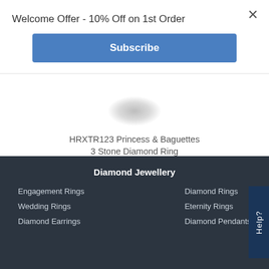Welcome Offer - 10% Off on 1st Order
Subscribe
HRXTR123 Princess & Baguettes 3 Stone Diamond Ring
£1,359
Help?
Diamond Jewellery
Engagement Rings
Wedding Rings
Diamond Earrings
Diamond Rings
Eternity Rings
Diamond Pendants